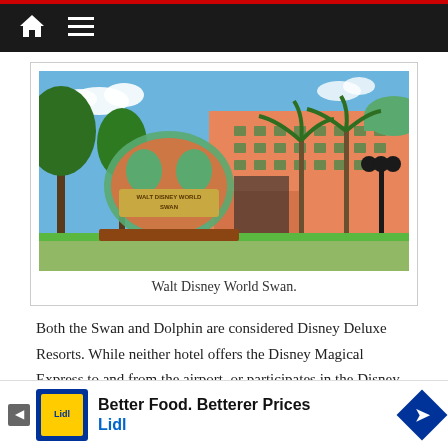Navigation bar with home and menu icons
[Figure (photo): Exterior photo of Walt Disney World Swan hotel showing the iconic swan sculpture sign in foreground with orange/coral hotel building and palm trees in background under blue sky]
Walt Disney World Swan.
Both the Swan and Dolphin are considered Disney Deluxe Resorts. While neither hotel offers the Disney Magical Express to and from the airport, or participates in the Disney Dining Plan, guests do get the normal WDW on-site ammenities including Extra Magic Hours, Disney transportation, and early access to Fast Pass+ reservations compared to the o…
[Figure (other): Lidl advertisement banner: Better Food. Betterer Prices with Lidl logo and navigation arrow]